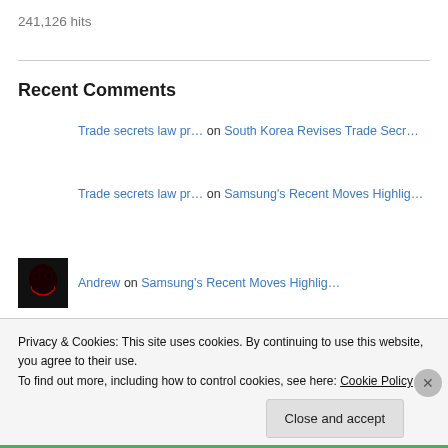241,126 hits
Recent Comments
Trade secrets law pr… on South Korea Revises Trade Secr…
Trade secrets law pr… on Samsung's Recent Moves Highlig…
Andrew on Samsung's Recent Moves Highlig…
Samsung victim wins… on A Samsung Cluster Victim Wins…
Privacy & Cookies: This site uses cookies. By continuing to use this website, you agree to their use. To find out more, including how to control cookies, see here: Cookie Policy